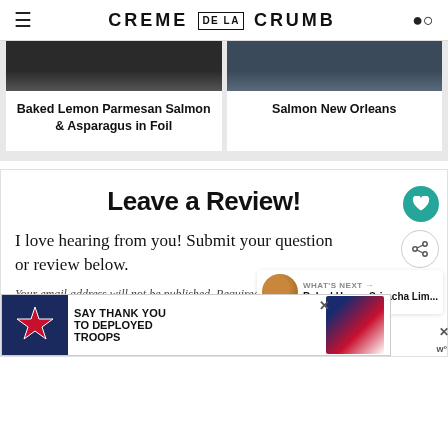CREME DE LA CRUMB
Baked Lemon Parmesan Salmon & Asparagus in Foil
Salmon New Orleans
Leave a Review!
I love hearing from you! Submit your question or review below.
Your email address will not be published. Required fields are marked*.
[Figure (screenshot): Advertisement banner: Operation Gratitude - Say Thank You to Deployed Troops]
WHAT'S NEXT → Baked Honey Sriracha Lim...